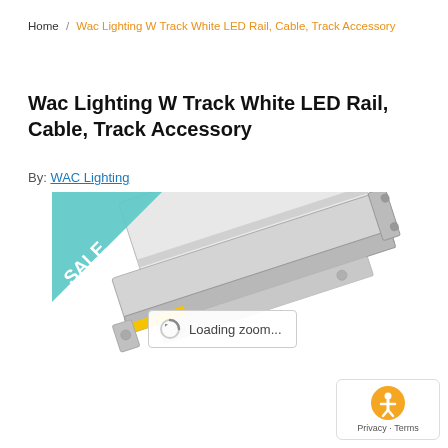Home / Wac Lighting W Track White LED Rail, Cable, Track Accessory
Wac Lighting W Track White LED Rail, Cable, Track Accessory
By: WAC Lighting
[Figure (photo): Product photo of a white LED track lighting rail/cable accessory by WAC Lighting, shown at an angle on a white background. A 'SALE' badge triangle is visible in the upper-left of the image. A 'Loading zoom...' overlay is shown in the center of the image.]